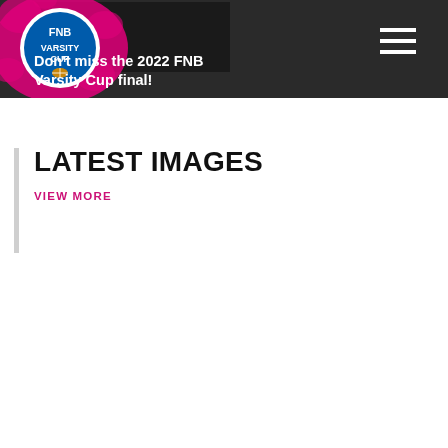Don't miss the 2022 FNB Varsity Cup final!
LATEST IMAGES
VIEW MORE